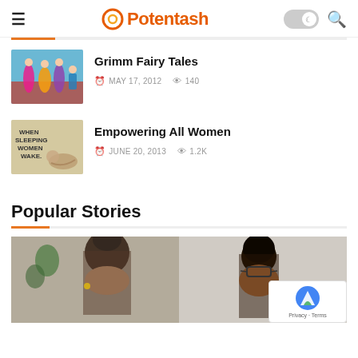Potentash
Grimm Fairy Tales
MAY 17, 2012   140
Empowering All Women
JUNE 20, 2013   1.2K
Popular Stories